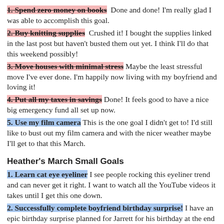1. Spend zero money on books Done and done! I'm really glad I was able to accomplish this goal.
2. Buy knitting supplies Crushed it! I bought the supplies linked in the last post but haven't busted them out yet. I think I'll do that this weekend possibly!
3. Move houses with minimal stress Maybe the least stressful move I've ever done. I'm happily now living with my boyfriend and loving it!
4. Put all my taxes in savings Done! It feels good to have a nice big emergency fund all set up now.
5. Use my film camera This is the one goal I didn't get to! I'd still like to bust out my film camera and with the nicer weather maybe I'll get to that this March.
Heather's March Small Goals
1. Learn cat eye eyeliner I see people rocking this eyeliner trend and can never get it right. I want to watch all the YouTube videos it takes until I get this one down.
2. Successfully complete boyfriend birthday surprise! I have an epic birthday surprise planned for Jarrett for his birthday at the end of the month and I cannot wait. He is SO